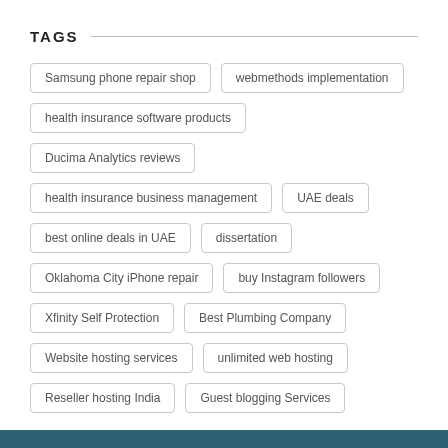TAGS
Samsung phone repair shop
webmethods implementation
health insurance software products
Ducima Analytics reviews
health insurance business management
UAE deals
best online deals in UAE
dissertation
Oklahoma City iPhone repair
buy Instagram followers
Xfinity Self Protection
Best Plumbing Company
Website hosting services
unlimited web hosting
Reseller hosting India
Guest blogging Services